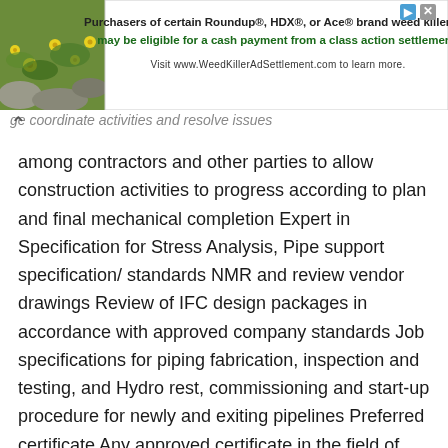[Figure (other): Advertisement banner with plant/nature photo on left and text about Roundup weed killer class action settlement on right]
ge coordinate activities and resolve issues among contractors and other parties to allow construction activities to progress according to plan and final mechanical completion Expert in Specification for Stress Analysis, Pipe support specification/standards NMR and review vendor drawings Review of IFC design packages in accordance with approved company standards Job specifications for piping fabrication, inspection and testing, and Hydro rest, commissioning and start-up procedure for newly and exiting pipelines Preferred certificate Any approved certificate in the field of Mechanical Engineering will be preferable  Preferred skills Technical and soft skills,